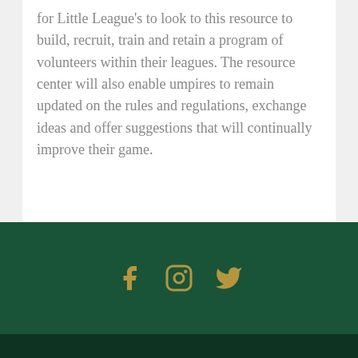for Little League's to look to this resource to build, recruit, train and retain a program of volunteers within their leagues. The resource center will also enable umpires to remain updated on the rules and regulations, exchange ideas and offer suggestions that will continually improve their game.
The Umpire Resource Center
Social media links: Facebook, Instagram, Twitter